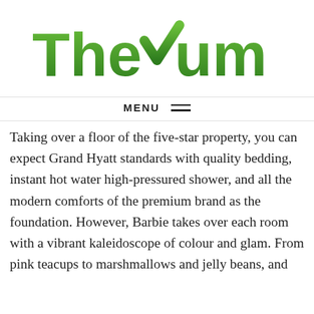[Figure (logo): The Yum List logo — green gradient bold sans-serif text with a green checkmark replacing the Y in Yum]
MENU ≡
Taking over a floor of the five-star property, you can expect Grand Hyatt standards with quality bedding, instant hot water high-pressured shower, and all the modern comforts of the premium brand as the foundation. However, Barbie takes over each room with a vibrant kaleidoscope of colour and glam. From pink teacups to marshmallows and jelly beans, and